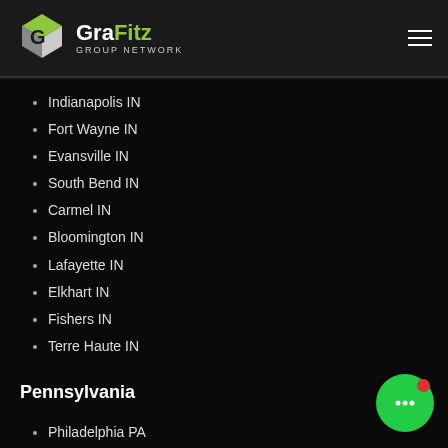[Figure (logo): GraFitz Group Network logo with green and white G icon and text]
Indianapolis IN
Fort Wayne IN
Evansville IN
South Bend IN
Carmel IN
Bloomington IN
Lafayette IN
Elkhart IN
Fishers IN
Terre Haute IN
Pennsylvania
Philadelphia PA
Pittsburgh PA
Harrisburg PA
Lancaster PA
Allentown PA
York PA
Erie PA